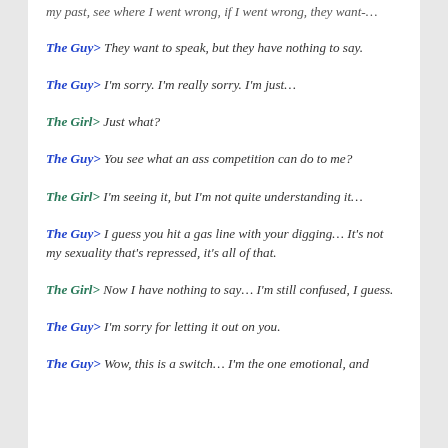my past, see where I went wrong, if I went wrong, they want-…
The Guy> They want to speak, but they have nothing to say.
The Guy> I'm sorry. I'm really sorry. I'm just…
The Girl> Just what?
The Guy> You see what an ass competition can do to me?
The Girl> I'm seeing it, but I'm not quite understanding it…
The Guy> I guess you hit a gas line with your digging… It's not my sexuality that's repressed, it's all of that.
The Girl> Now I have nothing to say… I'm still confused, I guess.
The Guy> I'm sorry for letting it out on you.
The Guy> Wow, this is a switch… I'm the one emotional, and